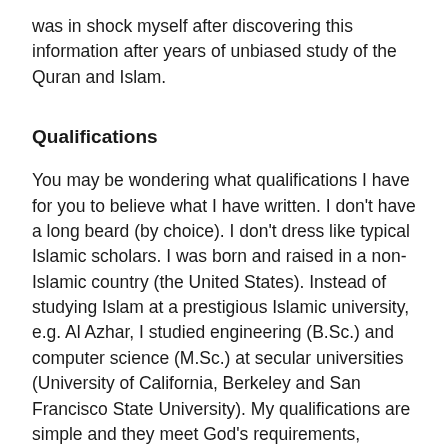was in shock myself after discovering this information after years of unbiased study of the Quran and Islam.
Qualifications
You may be wondering what qualifications I have for you to believe what I have written. I don't have a long beard (by choice). I don't dress like typical Islamic scholars. I was born and raised in a non-Islamic country (the United States). Instead of studying Islam at a prestigious Islamic university, e.g. Al Azhar, I studied engineering (B.Sc.) and computer science (M.Sc.) at secular universities (University of California, Berkeley and San Francisco State University). My qualifications are simple and they meet God's requirements, namely, to use reason and study the Word of God (the Quran). The Quran does not require anyone to have a PhD in Islamic studies in order to